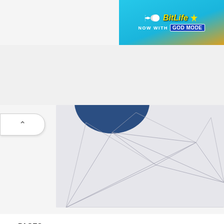[Figure (screenshot): BitLife advertisement banner: cyan/blue gradient background with sperm icon, 'BitLife' yellow bold italic text, 'NOW WITH GOD MODE' text with blue badge]
[Figure (illustration): Partial banner image with geometric polygon line pattern on grey/white background and dark blue circular shape partially visible at top center]
PAGES
Privacy Policy
Terms of Use
Cookies Policy
About us
RSS Feeds